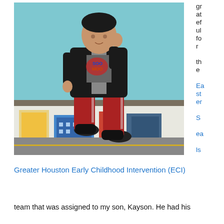[Figure (photo): A young boy standing in front of a light blue wall, wearing a dark jacket, grey graphic t-shirt, red sweatpants, and black sneakers. He is posing on an interactive floor display showing a colorful animated cityscape.]
grateful for the Easter Seals
Greater Houston Early Childhood Intervention (ECI)
team that was assigned to my son, Kayson. He had his